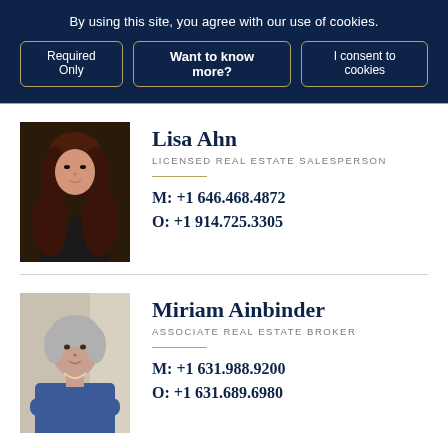By using this site, you agree with our use of cookies.
Required Only | Want to know more? | I consent to cookies
[Figure (photo): Headshot of Lisa Ahn, a woman with long brown hair wearing a black top]
Lisa Ahn
LICENSED REAL ESTATE SALESPERSON
M: +1 646.468.4872
O: +1 914.725.3305
[Figure (photo): Headshot of Miriam Ainbinder, an older woman with short gray hair wearing a blue top]
Miriam Ainbinder
ASSOCIATE REAL ESTATE BROKER
M: +1 631.988.9200
O: +1 631.689.6980